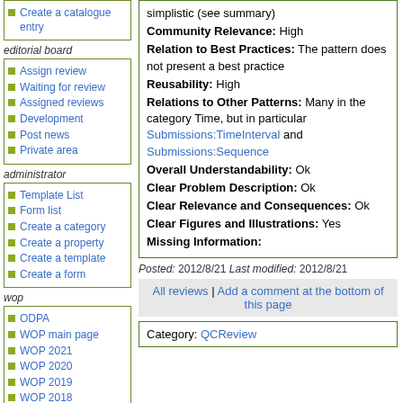Create a catalogue entry
editorial board
Assign review
Waiting for review
Assigned reviews
Development
Post news
Private area
administrator
Template List
Form list
Create a category
Create a property
Create a template
Create a form
wop
ODPA
WOP main page
WOP 2021
WOP 2020
WOP 2019
WOP 2018
WOP 2017
simplistic (see summary)
Community Relevance: High
Relation to Best Practices: The pattern does not present a best practice
Reusability: High
Relations to Other Patterns: Many in the category Time, but in particular Submissions:TimeInterval and Submissions:Sequence
Overall Understandability: Ok
Clear Problem Description: Ok
Clear Relevance and Consequences: Ok
Clear Figures and Illustrations: Yes
Missing Information:
Posted: 2012/8/21 Last modified: 2012/8/21
All reviews | Add a comment at the bottom of this page
Category: QCReview